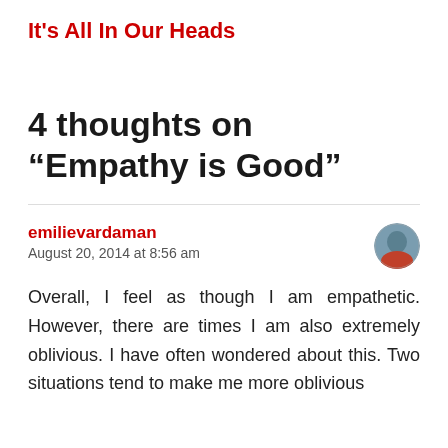It's All In Our Heads
4 thoughts on “Empathy is Good”
emilievardaman
August 20, 2014 at 8:56 am
Overall, I feel as though I am empathetic. However, there are times I am also extremely oblivious. I have often wondered about this. Two situations tend to make me more oblivious